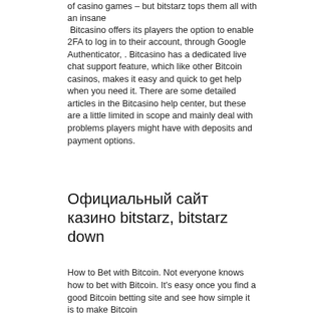of casino games – but bitstarz tops them all with an insane
Bitcasino offers its players the option to enable 2FA to log in to their account, through Google Authenticator, . Bitcasino has a dedicated live chat support feature, which like other Bitcoin casinos, makes it easy and quick to get help when you need it. There are some detailed articles in the Bitcasino help center, but these are a little limited in scope and mainly deal with problems players might have with deposits and payment options.
Официальный сайт казино bitstarz, bitstarz down
How to Bet with Bitcoin. Not everyone knows how to bet with Bitcoin. It's easy once you find a good Bitcoin betting site and see how simple it is to make Bitcoin